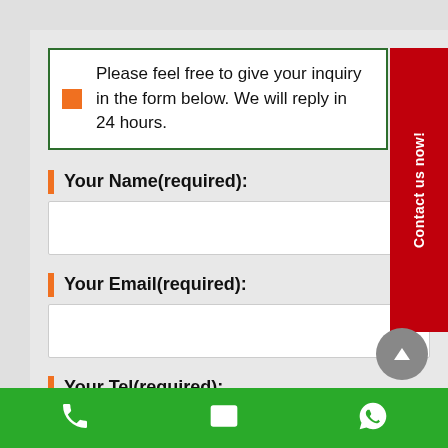Please feel free to give your inquiry in the form below. We will reply in 24 hours.
Your Name(required):
Your Email(required):
Your Tel(required):
Contact us now!